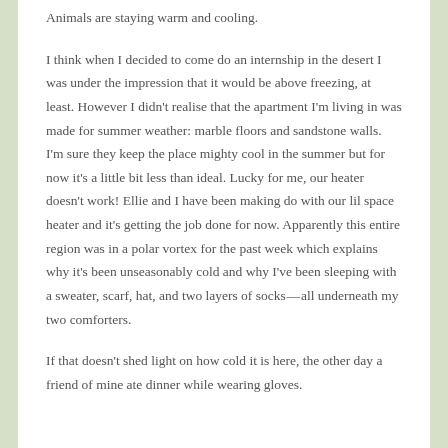Animals are staying warm and cooling.
I think when I decided to come do an internship in the desert I was under the impression that it would be above freezing, at least. However I didn't realise that the apartment I'm living in was made for summer weather: marble floors and sandstone walls. I'm sure they keep the place mighty cool in the summer but for now it's a little bit less than ideal. Lucky for me, our heater doesn't work! Ellie and I have been making do with our lil space heater and it's getting the job done for now. Apparently this entire region was in a polar vortex for the past week which explains why it's been unseasonably cold and why I've been sleeping with a sweater, scarf, hat, and two layers of socks — all underneath my two comforters.
If that doesn't shed light on how cold it is here, the other day a friend of mine ate dinner while wearing gloves.